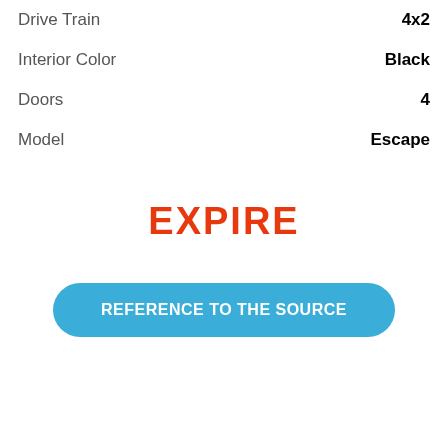Drive Train | 4x2
Interior Color | Black
Doors | 4
Model | Escape
EXPIRE
REFERENCE TO THE SOURCE